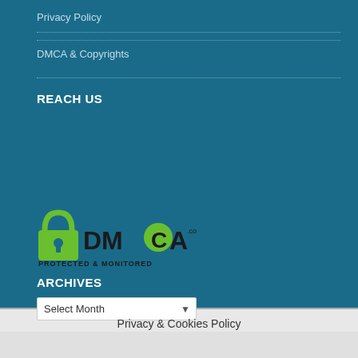Privacy Policy
DMCA & Copyrights
REACH US
[Figure (logo): DMCA Protected & Monitored badge logo with green padlock icon and DMCA.com text]
ARCHIVES
Select Month
Privacy & Cookies Policy